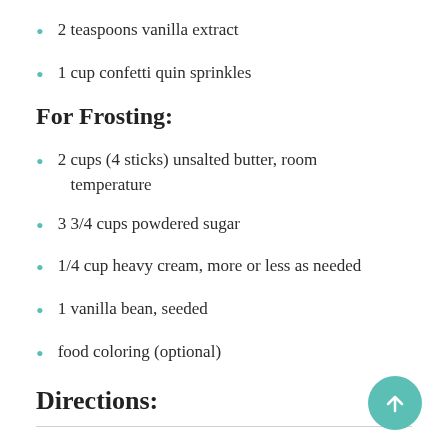2 teaspoons vanilla extract
1 cup confetti quin sprinkles
For Frosting:
2 cups (4 sticks) unsalted butter, room temperature
3 3/4 cups powdered sugar
1/4 cup heavy cream, more or less as needed
1 vanilla bean, seeded
food coloring (optional)
Directions: